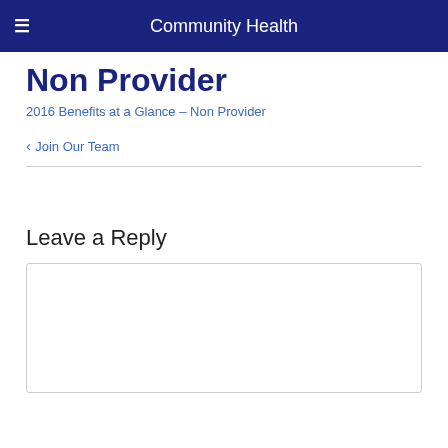Community Health
Non Provider
2016 Benefits at a Glance - Non Provider
‹ Join Our Team
Leave a Reply